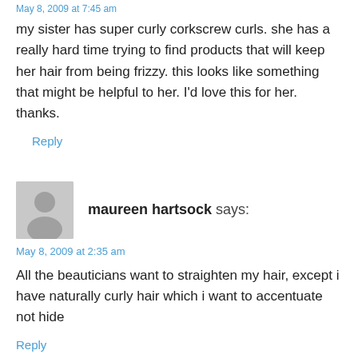May 8, 2009 at 7:45 am
my sister has super curly corkscrew curls. she has a really hard time trying to find products that will keep her hair from being frizzy. this looks like something that might be helpful to her. I'd love this for her. thanks.
Reply
[Figure (illustration): Generic user avatar placeholder: grey circle head and shoulders silhouette on light grey background]
maureen hartsock says:
May 8, 2009 at 2:35 am
All the beauticians want to straighten my hair, except i have naturally curly hair which i want to accentuate not hide
Reply